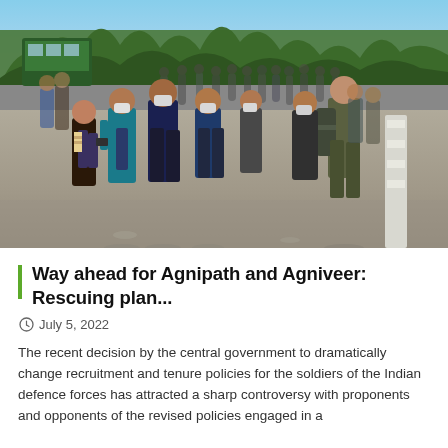[Figure (photo): Group of young people wearing face masks walking on a road, with trees and a bus visible in the background. The scene appears to be migrants or youth walking in a crowd outdoors.]
Way ahead for Agnipath and Agniveer: Rescuing plan...
July 5, 2022
The recent decision by the central government to dramatically change recruitment and tenure policies for the soldiers of the Indian defence forces has attracted a sharp controversy with proponents and opponents of the revised policies engaged in a